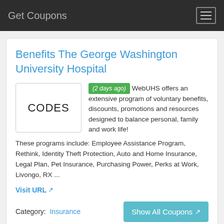Get Coupons
Benefits The George Washington University Hospital
[Figure (other): Box with the word CODES in large text]
(2 days ago) WebUHS offers an extensive program of voluntary benefits, discounts, promotions and resources designed to balance personal, family and work life! These programs include: Employee Assistance Program, Rethink, Identity Theft Protection, Auto and Home Insurance, Legal Plan, Pet Insurance, Purchasing Power, Perks at Work, Livongo, RX ...
Visit URL
Category: Insurance
Show All Coupons